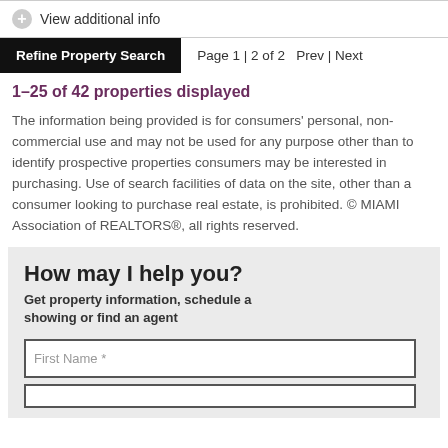View additional info
Refine Property Search   Page 1 | 2 of 2   Prev | Next
1–25 of 42 properties displayed
The information being provided is for consumers' personal, non-commercial use and may not be used for any purpose other than to identify prospective properties consumers may be interested in purchasing. Use of search facilities of data on the site, other than a consumer looking to purchase real estate, is prohibited. © MIAMI Association of REALTORS®, all rights reserved.
How may I help you?
Get property information, schedule a showing or find an agent
First Name *